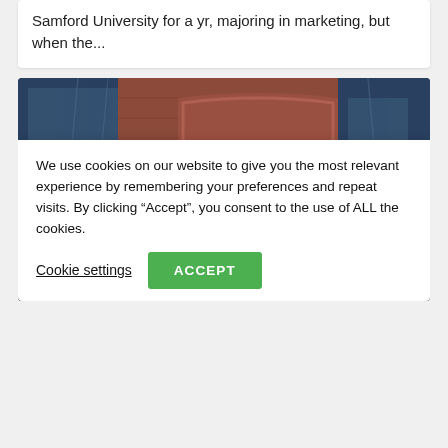Samford University for a yr, majoring in marketing, but when the...
[Figure (photo): A person standing in front of a brick arched sign that reads 'It's Working! cte COUNTRY INTERMEDIATE SCHOOL DISTRICT'. Background shows a building exterior with blue reflective windows.]
We use cookies on our website to give you the most relevant experience by remembering your preferences and repeat visits. By clicking “Accept”, you consent to the use of ALL the cookies.
Cookie settings
ACCEPT